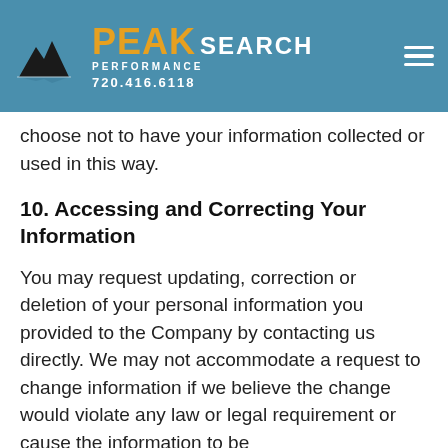PEAK SEARCH PERFORMANCE 720.416.6118
choose not to have your information collected or used in this way.
10. Accessing and Correcting Your Information
You may request updating, correction or deletion of your personal information you provided to the Company by contacting us directly. We may not accommodate a request to change information if we believe the change would violate any law or legal requirement or cause the information to be